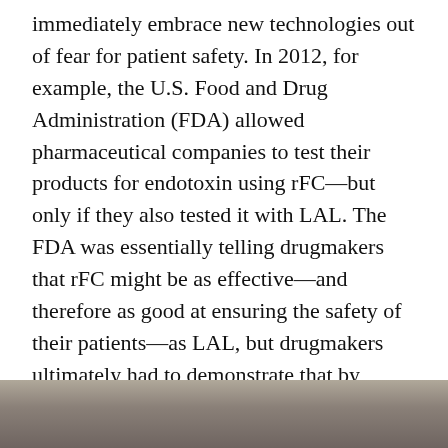immediately embrace new technologies out of fear for patient safety. In 2012, for example, the U.S. Food and Drug Administration (FDA) allowed pharmaceutical companies to test their products for endotoxin using rFC—but only if they also tested it with LAL. The FDA was essentially telling drugmakers that rFC might be as effective—and therefore as good at ensuring the safety of their patients—as LAL, but drugmakers ultimately had to demonstrate that by applying for approval on a case-by-case basis. Few companies aside from Eli Lilly were willing to devote the resources needed to make that happen or take the risk, even though numerous studies have shown rFC is just as safe and effective as LAL.
[Figure (photo): A dark-toned photo strip at the bottom of the page, showing a muted gray-brown surface, partially visible.]